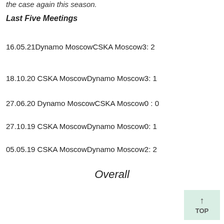the case again this season.
Last Five Meetings
16.05.21Dynamo MoscowCSKA Moscow3: 2
18.10.20 CSKA MoscowDynamo Moscow3: 1
27.06.20 Dynamo MoscowCSKA Moscow0 : 0
27.10.19 CSKA MoscowDynamo Moscow0: 1
05.05.19 CSKA MoscowDynamo Moscow2: 2
Overall